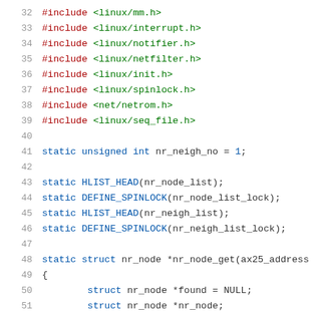32  #include <linux/mm.h>
33  #include <linux/interrupt.h>
34  #include <linux/notifier.h>
35  #include <linux/netfilter.h>
36  #include <linux/init.h>
37  #include <linux/spinlock.h>
38  #include <net/netrom.h>
39  #include <linux/seq_file.h>
40
41  static unsigned int nr_neigh_no = 1;
42
43  static HLIST_HEAD(nr_node_list);
44  static DEFINE_SPINLOCK(nr_node_list_lock);
45  static HLIST_HEAD(nr_neigh_list);
46  static DEFINE_SPINLOCK(nr_neigh_list_lock);
47
48  static struct nr_node *nr_node_get(ax25_address
49  {
50      struct nr_node *found = NULL;
51      struct nr_node *nr_node;
52      struct hlist_node *node;